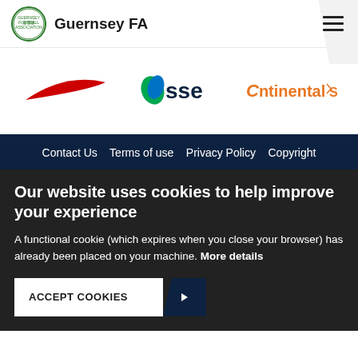Guernsey FA
[Figure (logo): Nike swoosh logo (red), SSE logo (blue/green), Continental tyres logo (orange)]
Contact Us   Terms of use   Privacy Policy   Copyright
Our website uses cookies to help improve your experience
A functional cookie (which expires when you close your browser) has already been placed on your machine. More details
ACCEPT COOKIES